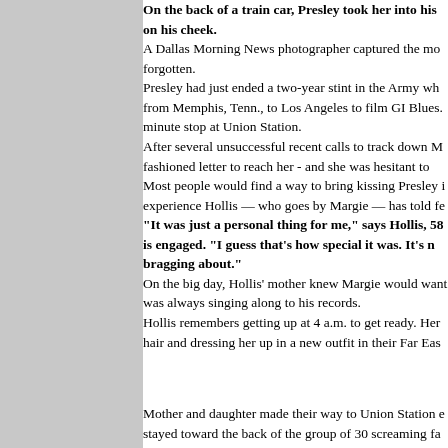through Dallas in 1960. On the back of a train car, Presley took her into his arms and planted a kiss on his cheek. A Dallas Morning News photographer captured the moment, not to be forgotten. Presley had just ended a two-year stint in the Army when the train rolled from Memphis, Tenn., to Los Angeles to film GI Blues. It made a two-minute stop at Union Station. After several unsuccessful recent calls to track down Myrick, Hollis sent an old-fashioned letter to reach her - and she was hesitant to respond. Most people would find a way to bring kissing Presley into conversation, but the experience Hollis — who goes by Margie — has told few people about. "It was just a personal thing for me," says Hollis, 58, who lives in Garland and is engaged. "I guess that's how special it was. It's not something I go around bragging about." On the big day, Hollis' mother knew Margie would want to be there. She was always singing along to his records. Hollis remembers getting up at 4 a.m. to get ready. Her mother was fixing her hair and dressing her up in a new outfit in their Far Eas...
Mother and daughter made their way to Union Station early and stayed toward the back of the group of 30 screaming fans, with Margie on her tall mother's shoulders waiting to catch sight of Presley. Blinking and rubbing his eyes, Elvis made his way to the back of the train for fans who loudly cheered for him. "They just kept screaming," Hollis says of the crowd of a few hundred. As Presley started signing autograph books, some girls started pushing. He stepped back. "Be keerful there … the other day in Nashville a girl got pushed under a train like this," Elvis said but when Presley leaned bac... "He cluld ... He cluld ..." Elvis started...